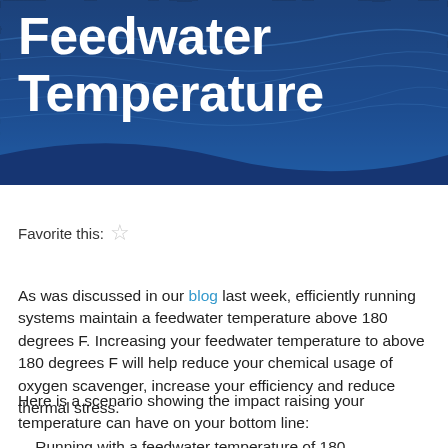Feedwater Temperature
Favorite this: ☆
As was discussed in our blog last week, efficiently running systems maintain a feedwater temperature above 180 degrees F. Increasing your feedwater temperature to above 180 degrees F will help reduce your chemical usage of oxygen scavenger, increase your efficiency and reduce thermal stress.
Here is a scenario showing the impact raising your temperature can have on your bottom line:
Running with a feedwater temperature of 180...